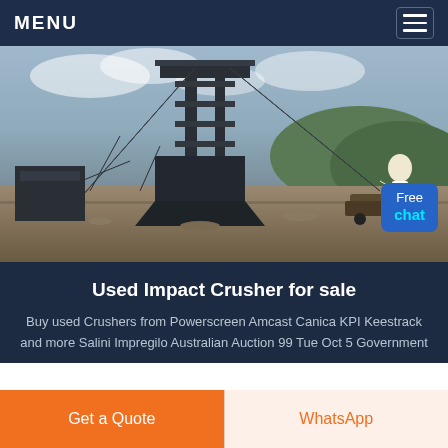MENU
[Figure (photo): Industrial impact crusher / screening plant at a quarry site with conveyors, hoppers, and steel structures against a cloudy sky with hills in background. A virtual assistant character is visible with a 'Free chat' button overlay.]
Used Impact Crusher for sale
Buy used Crushers from Powerscreen Amcast Canica KPI Keestrack and more Salini Impregilo Australian Auction 99 Tue Oct 5 Government
Get a Quote
WhatsApp